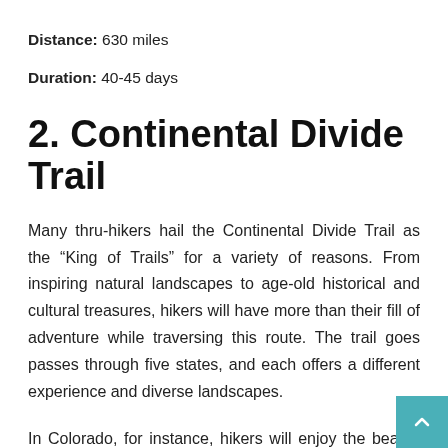Distance: 630 miles
Duration: 40-45 days
2. Continental Divide Trail
Many thru-hikers hail the Continental Divide Trail as the “King of Trails” for a variety of reasons. From inspiring natural landscapes to age-old historical and cultural treasures, hikers will have more than their fill of adventure while traversing this route. The trail goes passes through five states, and each offers a different experience and diverse landscapes.
In Colorado, for instance, hikers will enjoy the beauty of the Rocky Mountains, with views of the South San Juan and Garita Wildernesses and the half-million-acre Wemin